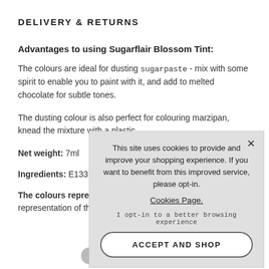DELIVERY & RETURNS
Advantages to using Sugarflair Blossom Tint:
The colours are ideal for dusting sugarpaste - mix with some spirit to enable you to paint with it, and add to melted chocolate for subtle tones.
The dusting colour is also perfect for colouring marzipan, knead the mixture with a plastic
Net weight: 7ml
Ingredients: E133 Blu
The colours represent representation of the
This site uses cookies to provide and improve your shopping experience. If you want to benefit from this improved service, please opt-in.
Cookies Page.
I opt-in to a better browsing experience
ACCEPT AND SHOP